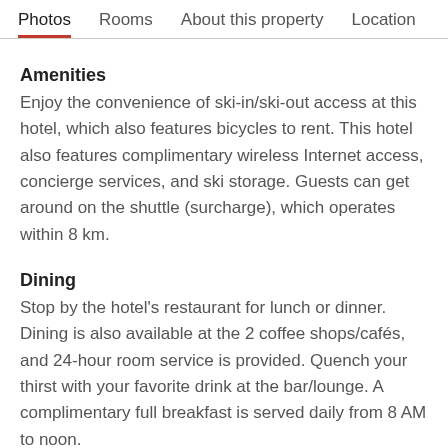Photos  Rooms  About this property  Location
Amenities
Enjoy the convenience of ski-in/ski-out access at this hotel, which also features bicycles to rent. This hotel also features complimentary wireless Internet access, concierge services, and ski storage. Guests can get around on the shuttle (surcharge), which operates within 8 km.
Dining
Stop by the hotel's restaurant for lunch or dinner. Dining is also available at the 2 coffee shops/cafés, and 24-hour room service is provided. Quench your thirst with your favorite drink at the bar/lounge. A complimentary full breakfast is served daily from 8 AM to noon.